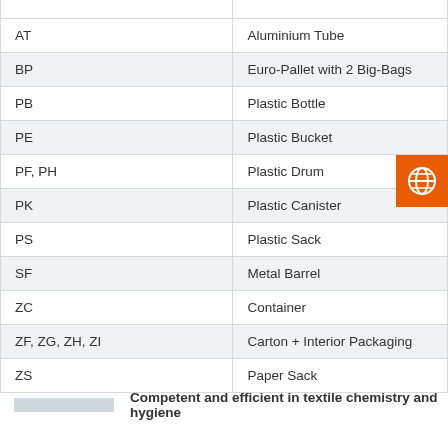| Code | Description |
| --- | --- |
| AT | Aluminium Tube |
| BP | Euro-Pallet with 2 Big-Bags |
| PB | Plastic Bottle |
| PE | Plastic Bucket |
| PF, PH | Plastic Drum |
| PK | Plastic Canister |
| PS | Plastic Sack |
| SF | Metal Barrel |
| ZC | Container |
| ZF, ZG, ZH, ZI | Carton + Interior Packaging |
| ZS | Paper Sack |
Competent and efficient in textile chemistry and hygiene